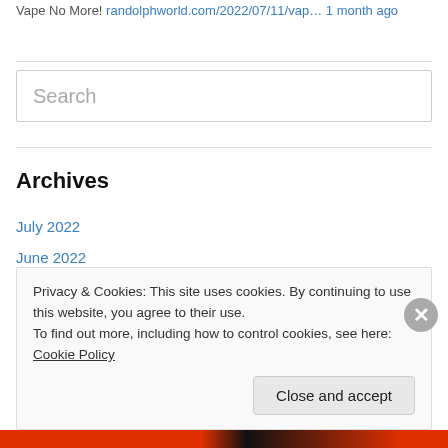Vape No More! randolphworld.com/2022/07/11/vap… 1 month ago
Search
Archives
July 2022
June 2022
February 2022
January 2022
Privacy & Cookies: This site uses cookies. By continuing to use this website, you agree to their use.
To find out more, including how to control cookies, see here: Cookie Policy
Close and accept